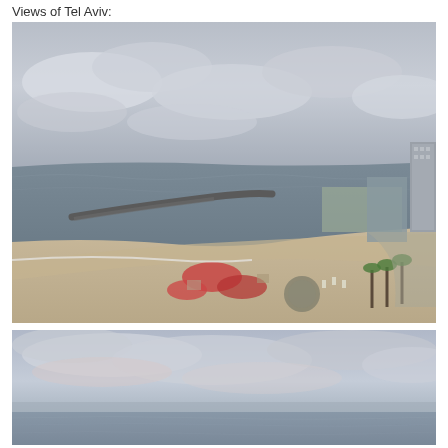Views of Tel Aviv:
[Figure (photo): Aerial view of Tel Aviv beach at dusk. Shows the Mediterranean Sea on the left with a breakwater jetty extending into the water. Sandy beach curves to the right with people and colorful beach umbrellas/gatherings visible on the sand. A marina/port area is visible in the background upper right with a tall building. Palm trees and beachside facilities line the right side.]
[Figure (photo): View of the Mediterranean Sea from an elevated position in Tel Aviv. Overcast sky with clouds, hazy horizon line where the sea meets the sky. Calm sea visible in the lower portion of the image.]